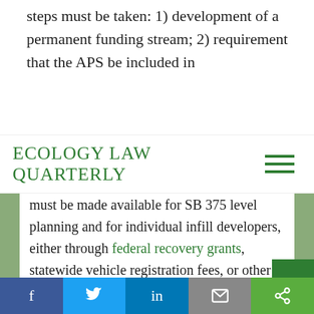steps must be taken: 1) development of a permanent funding stream; 2) requirement that the APS be included in
Ecology Law Quarterly
must be made available for SB 375 level planning and for individual infill developers, either through federal recovery grants, statewide vehicle registration fees, or other creative funding opportunities at the local and regional level. In addition, the current